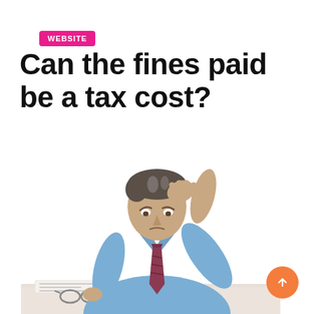WEBSITE
Can the fines paid be a tax cost?
[Figure (photo): A stressed businessman in a blue shirt and dark red tie, sitting at a desk, holding his head with one hand and glasses in the other, looking down at papers — white background.]